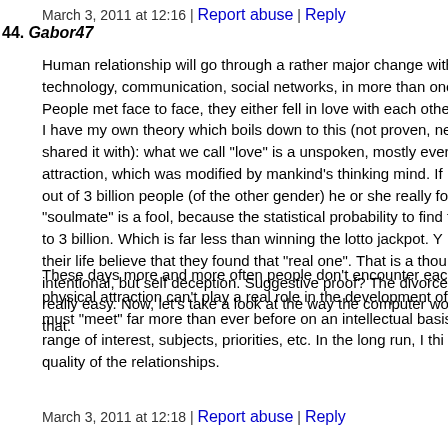March 3, 2011 at 12:16 | Report abuse | Reply
44. Gabor47
Human relationship will go through a rather major change with technology, communication, social networks, in more than one... People met face to face, they either fell in love with each other... I have my own theory which boils down to this (not proven, never shared it with): what we call "love" is a unspoken, mostly ever... attraction, which was modified by mankind's thinking mind. If... out of 3 billion people (of the other gender) he or she really fo... "soulmate" is a fool, because the statistical probability to find t... to 3 billion. Which is far less than winning the lotto jackpot. Y... their life believe that they found that "real one". That is a thou... intentional, but self deception. Suggestive proof? The divorce ... really easy. Now, let's take a look at the way the computer wor... that.
These days more and more often people don't encounter each o... physical attraction can't play a real role in the development of ... must "meet" far more than ever before on an intellectual basis,... range of interest, subjects, priorities, etc. In the long run, I thi... quality of the relationships.
March 3, 2011 at 12:18 | Report abuse | Reply